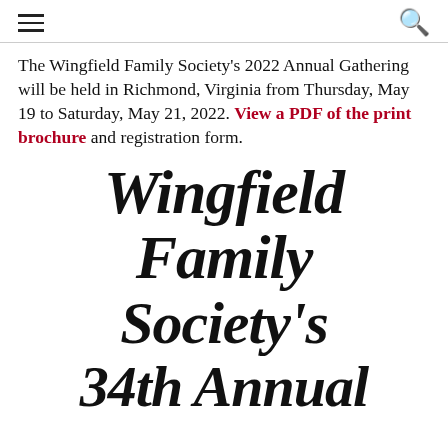[hamburger menu icon] [search icon]
The Wingfield Family Society's 2022 Annual Gathering will be held in Richmond, Virginia from Thursday, May 19 to Saturday, May 21, 2022. View a PDF of the print brochure and registration form.
Wingfield Family Society's 34th Annual